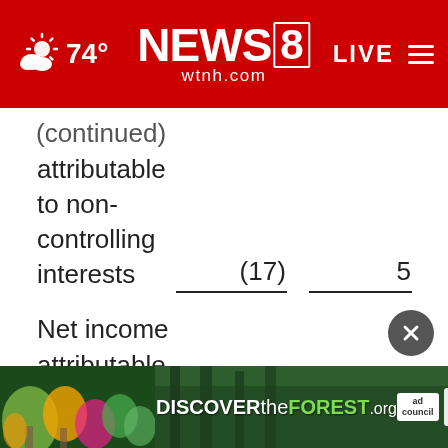[Figure (screenshot): NEWS 8 wtnh.com website header bar in red with weather icon showing partly cloudy at 74°, NEWS 8 logo center, LIVE and hamburger menu on right]
(continued)
attributable to non-controlling interests
(17)
5
| Net income attributable to One Liberty Properties, Inc. | $ | 9,323 | $ | 2,962 |
Net income per share attrib
common stockholders-
[Figure (photo): DISCOVERtheFOREST.org advertisement banner with forest imagery, ad council and USDA Forest Service logos]